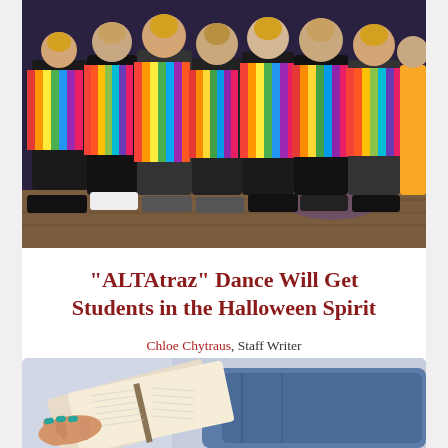[Figure (photo): Group of teenage girls wearing colorful striped ponchos posing together at a dance event on a wooden floor.]
“ALTAtraz” Dance Will Get Students in the Halloween Spirit
Chloe Chytraus, Staff Writer
October 12, 2021
[Figure (photo): Person lying down reading an open book, wearing jeans, with teal fingernails visible.]